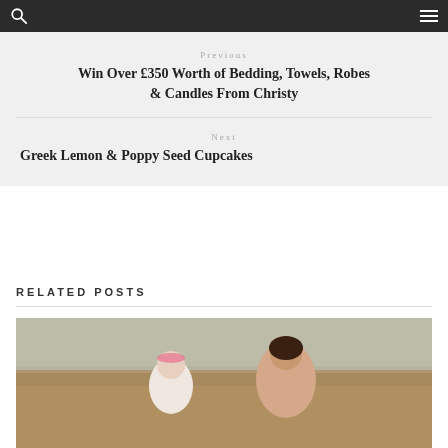Previous
Win Over £350 Worth of Bedding, Towels, Robes & Candles From Christy
Next
Greek Lemon & Poppy Seed Cupcakes
RELATED POSTS
[Figure (photo): Photo of a woman and a young child outdoors in a sunny landscape, the child wearing a pink headband and white outfit, the woman smiling beside her.]